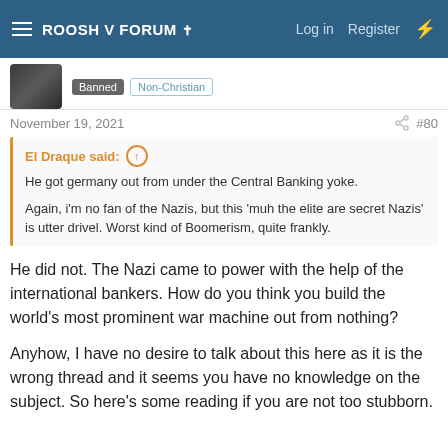ROOSH V FORUM ✝  Log in  Register
Banned  Non-Christian
November 19, 2021  #80
El Draque said: ↑

He got germany out from under the Central Banking yoke.

Again, i'm no fan of the Nazis, but this 'muh the elite are secret Nazis' is utter drivel. Worst kind of Boomerism, quite frankly.
He did not. The Nazi came to power with the help of the international bankers. How do you think you build the world's most prominent war machine out from nothing?

Anyhow, I have no desire to talk about this here as it is the wrong thread and it seems you have no knowledge on the subject. So here's some reading if you are not too stubborn.